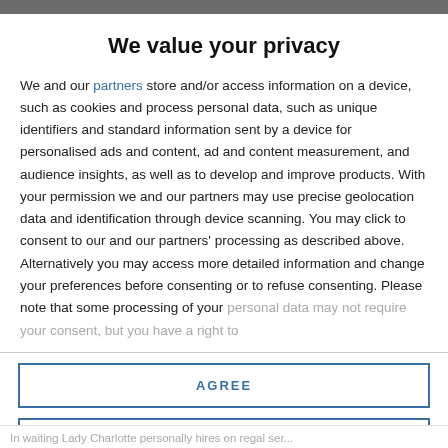We value your privacy
We and our partners store and/or access information on a device, such as cookies and process personal data, such as unique identifiers and standard information sent by a device for personalised ads and content, ad and content measurement, and audience insights, as well as to develop and improve products. With your permission we and our partners may use precise geolocation data and identification through device scanning. You may click to consent to our and our partners' processing as described above. Alternatively you may access more detailed information and change your preferences before consenting or to refuse consenting. Please note that some processing of your personal data may not require your consent, but you have a right to
AGREE
MORE OPTIONS
In waiting Lady Charlotte personally hires on regal ser...